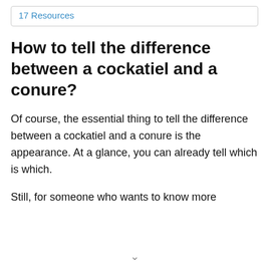17 Resources
How to tell the difference between a cockatiel and a conure?
Of course, the essential thing to tell the difference between a cockatiel and a conure is the appearance. At a glance, you can already tell which is which.
Still, for someone who wants to know more about the two birds, there's always more…